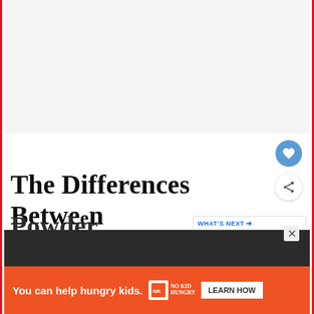[Figure (photo): Image placeholder area at the top of the article page, light grey background]
The Differences Between Cumin And Curry Powder
WHAT'S NEXT → Can you get sick from...
Powder
You can help hungry kids. NO KID HUNGRY LEARN HOW